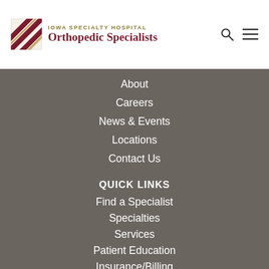IOWA SPECIALTY HOSPITAL Orthopedic Specialists
About
Careers
News & Events
Locations
Contact Us
QUICK LINKS
Find a Specialist
Specialties
Services
Patient Education
Insurance/Billing